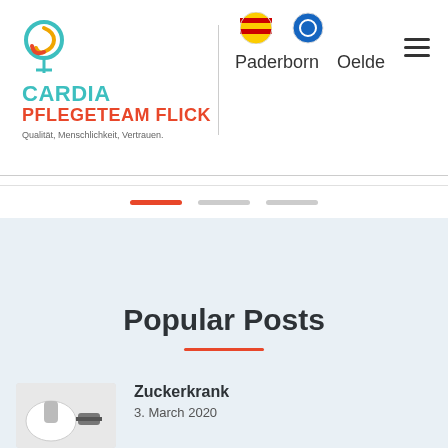[Figure (logo): Cardia Pflegeteam Flick logo with circular icon and text. Tagline: Qualität, Menschlichkeit, Vertrauen.]
Paderborn   Oelde
[Figure (infographic): Slider pagination dots: one active red/orange bar and two inactive grey bars]
Popular Posts
Zuckerkrank
3. March 2020